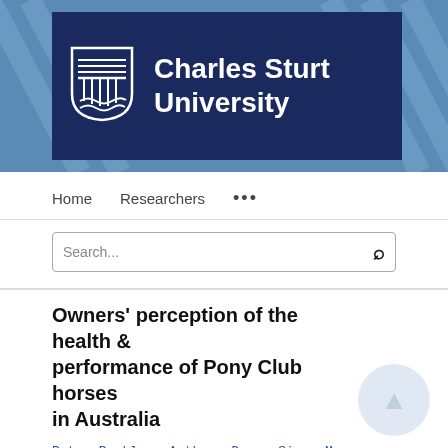[Figure (logo): Charles Sturt University logo with shield emblem and text on dark navy background with blue diagonal stripe pattern]
Home   Researchers   ...
Search...
Owners' perception of the health & performance of Pony Club horses in Australia
Petra Buckley, Anthony Dunn, Simon More